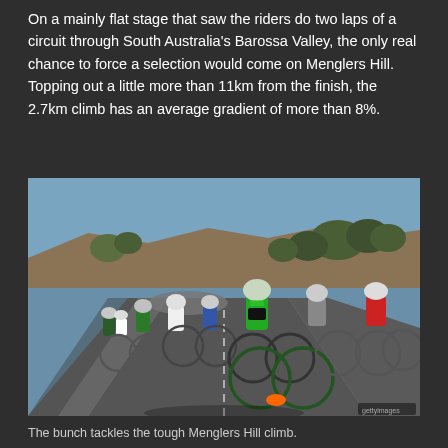On a mainly flat stage that saw the riders do two laps of a circuit through South Australia's Barossa Valley, the only real chance to force a selection would come on Menglers Hill. Topping out a little more than 11km from the finish, the 2.7km climb has an average gradient of more than 8%.
[Figure (photo): A peloton of cyclists racing on a road through a dry, hilly landscape in South Australia. The leading rider wears a green and black Belkin jersey. Other riders wear white, blue, and red kits. The scene is bright and sunny.]
The bunch tackles the tough Menglers Hill climb.